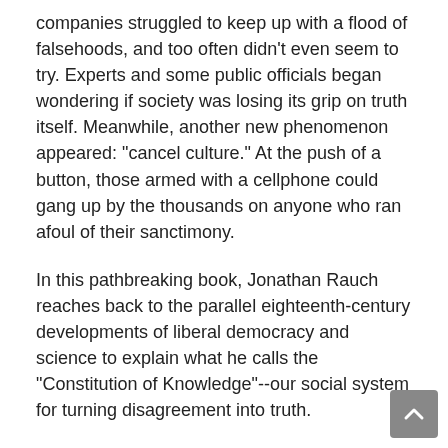companies struggled to keep up with a flood of falsehoods, and too often didn't even seem to try. Experts and some public officials began wondering if society was losing its grip on truth itself. Meanwhile, another new phenomenon appeared: "cancel culture." At the push of a button, those armed with a cellphone could gang up by the thousands on anyone who ran afoul of their sanctimony.
In this pathbreaking book, Jonathan Rauch reaches back to the parallel eighteenth-century developments of liberal democracy and science to explain what he calls the "Constitution of Knowledge"--our social system for turning disagreement into truth.
By explicating the Constitution of Knowledge and probing the war on reality, Rauch arms defenders of truth with a clearer understanding of what they must protect, why they must do-- and how they can do it. His book is a sweeping and readable description of how every American can help defend objective truth and free inquiry from threats as far away as Russia and as